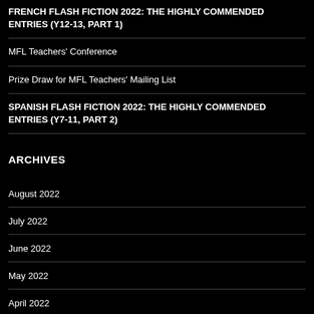FRENCH FLASH FICTION 2022: THE HIGHLY COMMENDED ENTRIES (Y12-13, PART 1)
MFL Teachers' Conference
Prize Draw for MFL Teachers' Mailing List
SPANISH FLASH FICTION 2022: THE HIGHLY COMMENDED ENTRIES (Y7-11, PART 2)
ARCHIVES
August 2022
July 2022
June 2022
May 2022
April 2022